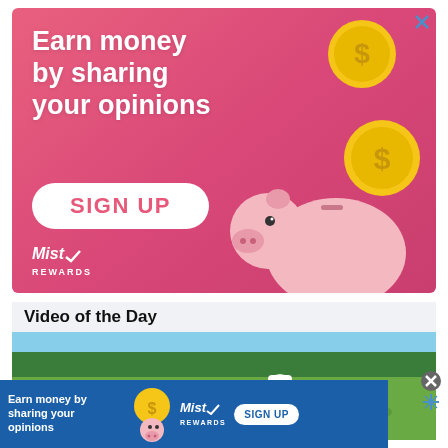[Figure (illustration): Pink advertisement banner for Mist Rewards. Text reads 'Earn money by sharing your opinions' with a SIGN UP button, gold coins, piggy bank illustration, and Mist Rewards logo.]
Video of the Day
[Figure (photo): Video thumbnail showing a golfer on a golf course bending over near a golf bag, with green grass and trees in the background.]
[Figure (illustration): Bottom sticky banner ad: blue background with 'Earn money by sharing your opinions' text, piggy bank coin illustration, Mist Rewards logo, and SIGN UP button.]